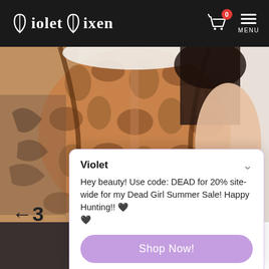Violet Vixen — MENU (cart: 0)
[Figure (photo): Woman wearing a brown snake-print corset over a white blouse, with visible tattoos on her left arm, posed against a light background.]
Violet
Hey beauty! Use code: DEAD for 20% site-wide for my Dead Girl Summer Sale! Happy Hunting!! 🖤 🖤
Shop Now!